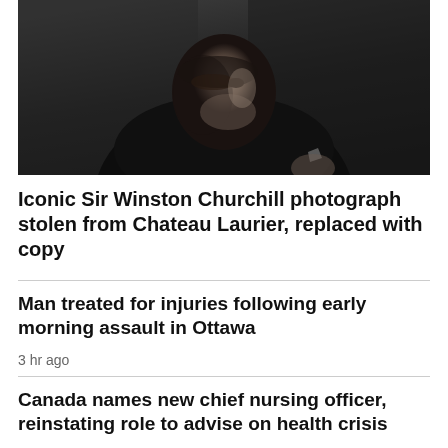[Figure (photo): Black and white photograph of Sir Winston Churchill, shown from the chest up, wearing a dark suit and bow tie, with a stern expression, looking slightly downward]
Iconic Sir Winston Churchill photograph stolen from Chateau Laurier, replaced with copy
Man treated for injuries following early morning assault in Ottawa
3 hr ago
Canada names new chief nursing officer, reinstating role to advise on health crisis